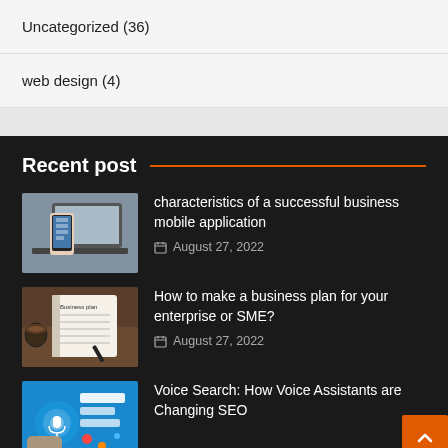Uncategorized (36)
web design (4)
Recent post
[Figure (photo): Hand holding a smartphone with a laptop in the background]
characteristics of a successful business mobile application
August 27, 2022
[Figure (photo): Notebook with business plan written on it, pen and coffee cup on a wooden table]
How to make a business plan for your enterprise or SME?
August 27, 2022
[Figure (photo): Voice search illustration with microphone and digital interface elements on blue background]
Voice Search: How Voice Assistants are Changing SEO